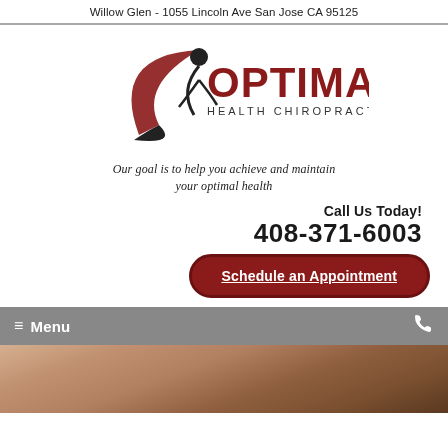Willow Glen - 1055 Lincoln Ave San Jose CA 95125
[Figure (logo): Optimal Health Chiropractic logo with stylized figure and red swoosh]
Our goal is to help you achieve and maintain your optimal health
Call Us Today!
408-371-6003
Schedule an Appointment
≡ Menu
[Figure (photo): Close-up photo of a person's face/neck, partially visible at bottom of page]